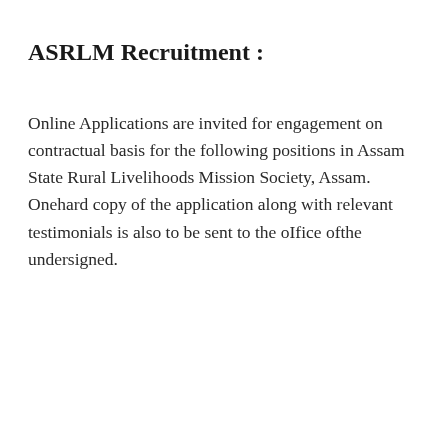ASRLM Recruitment :
Online Applications are invited for engagement on contractual basis for the following positions in Assam State Rural Livelihoods Mission Society, Assam. Onehard copy of the application along with relevant testimonials is also to be sent to the oIfice ofthe undersigned.